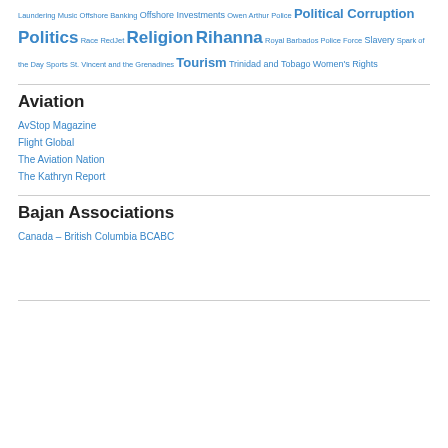Laundering Music Offshore Banking Offshore Investments Owen Arthur Police Political Corruption Politics Race RedJet Religion Rihanna Royal Barbados Police Force Slavery Spark of the Day Sports St. Vincent and the Grenadines Tourism Trinidad and Tobago Women's Rights
Aviation
AvStop Magazine
Flight Global
The Aviation Nation
The Kathryn Report
Bajan Associations
Canada – British Columbia BCABC